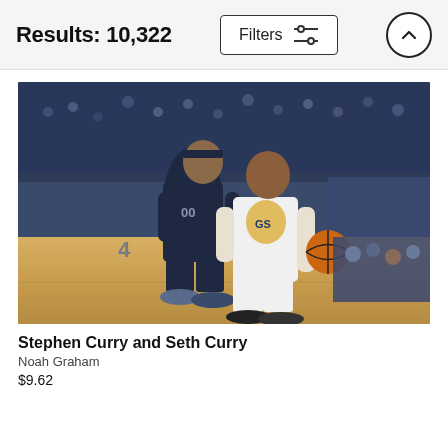Results: 10,322
[Figure (photo): NBA basketball game photo showing Stephen Curry in white Golden State Warriors uniform dribbling past Seth Curry in dark navy uniform, with arena crowd in background]
Stephen Curry and Seth Curry
Noah Graham
$9.62